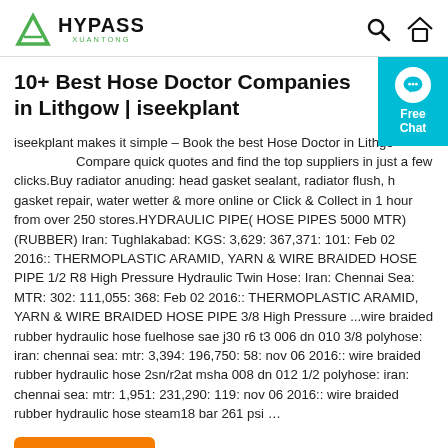HYPASS XUANTONG — header with search and home icons
10+ Best Hose Doctor Companies in Lithgow | iseekplant
iseekplant makes it simple – Book the best Hose Doctor in Lithgow. Compare quick quotes and find the top suppliers in just a few clicks.Buy radiator anuding: head gasket sealant, radiator flush, head gasket repair, water wetter & more online or Click & Collect in 1 hour from over 250 stores.HYDRAULIC PIPE( HOSE PIPES 5000 MTR) (RUBBER) Iran: Tughlakabad: KGS: 3,629: 367,371: 101: Feb 02 2016:: THERMOPLASTIC ARAMID, YARN & WIRE BRAIDED HOSE PIPE 1/2 R8 High Pressure Hydraulic Twin Hose: Iran: Chennai Sea: MTR: 302: 111,055: 368: Feb 02 2016:: THERMOPLASTIC ARAMID, YARN & WIRE BRAIDED HOSE PIPE 3/8 High Pressure ...wire braided rubber hydraulic hose fuelhose sae j30 r6 t3 006 dn 010 3/8 polyhose: iran: chennai sea: mtr: 3,394: 196,750: 58: nov 06 2016:: wire braided rubber hydraulic hose 2sn/r2at msha 008 dn 012 1/2 polyhose: iran: chennai sea: mtr: 1,951: 231,290: 119: nov 06 2016:: wire braided rubber hydraulic hose steam18 bar 261 psi ...
[Figure (other): Free Chat widget button in cyan/teal]
Get Price